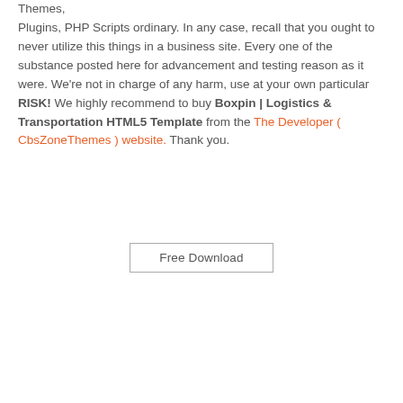Themes, Plugins, PHP Scripts ordinary. In any case, recall that you ought to never utilize this things in a business site. Every one of the substance posted here for advancement and testing reason as it were. We're not in charge of any harm, use at your own particular RISK! We highly recommend to buy Boxpin | Logistics & Transportation HTML5 Template from the The Developer ( CbsZoneThemes ) website. Thank you.
Free Download